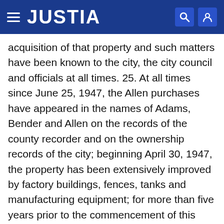JUSTIA
acquisition of that property and such matters have been known to the city, the city council and officials at all times. 25. At all times since June 25, 1947, the Allen purchases have appeared in the names of Adams, Bender and Allen on the records of the county recorder and on the ownership records of the city; beginning April 30, 1947, the property has been extensively improved by factory buildings, fences, tanks and manufacturing equipment; for more than five years prior to the commencement of this action, Adams, Bender and Allen, by themselves and their tenants, were in the continuous, open, notorious and exclusive possession of the property under claim of ownership and paid all taxes and assessments levied and assessed thereon; none of those three persons at any time or in any manner concealed from the city or any person their ownership or method of acquisition of the property and